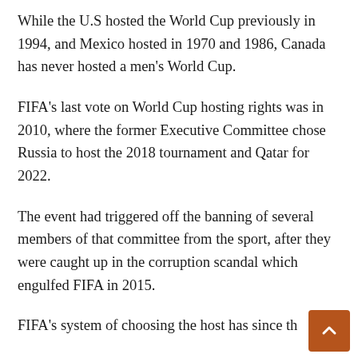While the U.S hosted the World Cup previously in 1994, and Mexico hosted in 1970 and 1986, Canada has never hosted a men's World Cup.
FIFA's last vote on World Cup hosting rights was in 2010, where the former Executive Committee chose Russia to host the 2018 tournament and Qatar for 2022.
The event had triggered off the banning of several members of that committee from the sport, after they were caught up in the corruption scandal which engulfed FIFA in 2015.
FIFA's system of choosing the host has since th…